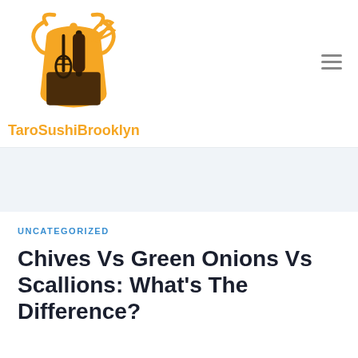[Figure (logo): TaroSushiBrooklyn cooking apron logo with whisk and rolling pin]
TaroSushiBrooklyn
UNCATEGORIZED
Chives Vs Green Onions Vs Scallions: What’s The Difference?